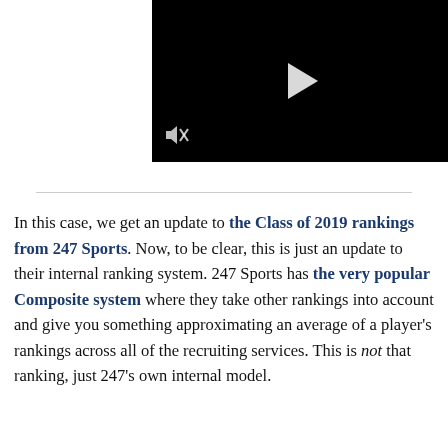[Figure (screenshot): Black video player thumbnail with white play button in center and muted/speaker icon in lower left]
In this case, we get an update to the Class of 2019 rankings from 247 Sports. Now, to be clear, this is just an update to their internal ranking system. 247 Sports has the very popular Composite system where they take other rankings into account and give you something approximating an average of a player's rankings across all of the recruiting services. This is not that ranking, just 247's own internal model.